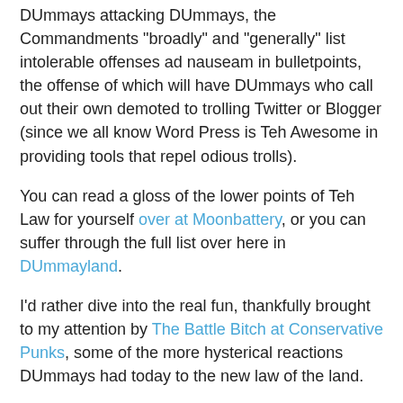DUmmays attacking DUmmays, the Commandments "broadly" and "generally" list intolerable offenses ad nauseam in bulletpoints, the offense of which will have DUmmays who call out their own demoted to trolling Twitter or Blogger (since we all know Word Press is Teh Awesome in providing tools that repel odious trolls).
You can read a gloss of the lower points of Teh Law for yourself over at Moonbattery, or you can suffer through the full list over here in DUmmayland.
I'd rather dive into the real fun, thankfully brought to my attention by The Battle Bitch at Conservative Punks, some of the more hysterical reactions DUmmays had today to the new law of the land.
muriel_volestrangler takes it the gas chamber: "The idea of a political party is that you agree among yourselves the policies and candidates, and then stick together. The 'democratic' in DU explicitly refers to the Democratic Party, not just the adjective for democracy. Once you start saying "I like the